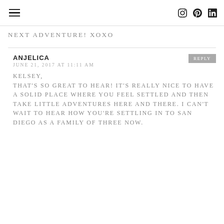≡  [instagram] [pinterest] in
NEXT ADVENTURE! XOXO
ANJELICA
JUNE 21, 2017 AT 11:11 AM
KELSEY, THAT'S SO GREAT TO HEAR! IT'S REALLY NICE TO HAVE A SOLID PLACE WHERE YOU FEEL SETTLED AND THEN TAKE LITTLE ADVENTURES HERE AND THERE. I CAN'T WAIT TO HEAR HOW YOU'RE SETTLING IN TO SAN DIEGO AS A FAMILY OF THREE NOW.